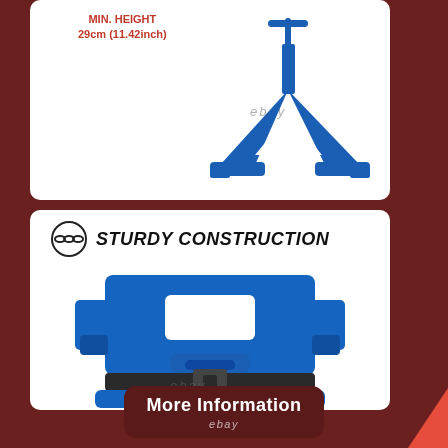[Figure (photo): Blue metal jack stand shown from the side at minimum height, with annotation label. eBay watermark visible. White rounded-corner panel on brown/maroon background.]
MIN. HEIGHT
29cm (11.42inch)
[Figure (photo): Close-up of blue metal jack stand base showing sturdy construction. Chain-link icon with 'STURDY CONSTRUCTION' heading. eBay watermark.]
STURDY CONSTRUCTION
More Information
ebay